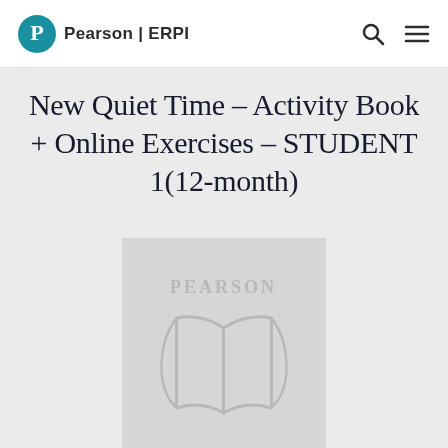Pearson | ERPI
New Quiet Time – Activity Book + Online Exercises – STUDENT 1(12-month)
[Figure (logo): Pearson placeholder book cover image with PEARSON wordmark and open book icon in light gray on gray background]